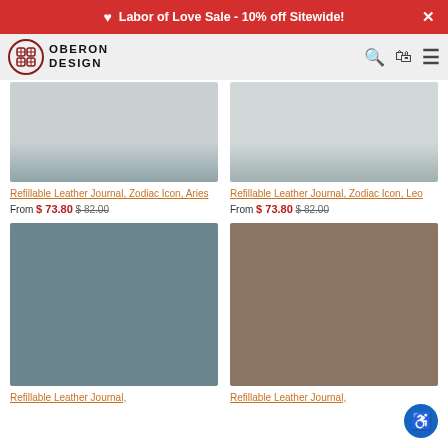Labor of Love Sale - 10% off Sitewide!
[Figure (screenshot): Oberon Design navigation bar with logo, search, cart, and menu icons]
Refillable Leather Journal, Zodiac Icon, Aries
From $ 73.80 $ 82.00
Refillable Leather Journal, Zodiac Icon, Leo
From $ 73.80 $ 82.00
[Figure (photo): Slate blue/grey colored leather journal product image]
[Figure (photo): Taupe/brown colored leather journal product image]
Refillable Leather Journal,
Refillable Leather Journal,